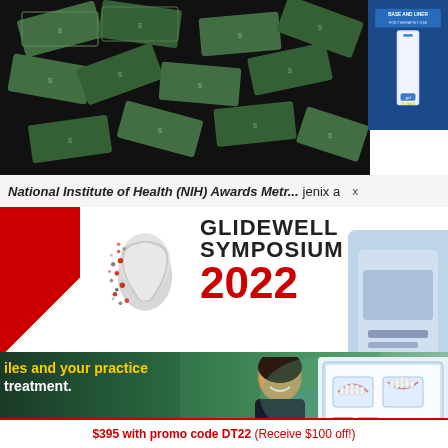[Figure (photo): Money/dollar bills scattered on black background, top portion of page]
[Figure (photo): Product image on blue background, top right corner, dental/medical product with text 'BASE AND LINER']
National Institute of Health (NIH) Awards Metr... jenix a
[Figure (logo): Glidewell Symposium 2022 logo with stylized tooth graphic and red/dark diagonal stripe]
GLIDEWELL SYMPOSIUM 2022
ESTHETICS: Creating Beautiful Smiles
OCTOBER 14-15
[Figure (photo): Smiling woman and outdoor scenery in background, bottom section]
iles and your practice
treatment.
[Figure (screenshot): Computer monitor showing dental orthodontic treatment planning software with teeth images]
$395 with promo code DT22 (Receive $100 off!)